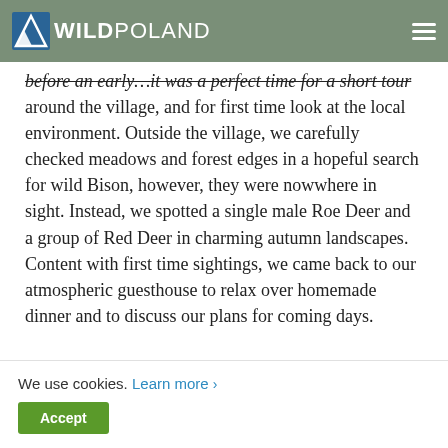WILD POLAND
around the village, and for first time look at the local environment. Outside the village, we carefully checked meadows and forest edges in a hopeful search for wild Bison, however, they were nowwhere in sight. Instead, we spotted a single male Roe Deer and a group of Red Deer in charming autumn landscapes. Content with first time sightings, we came back to our atmospheric guesthouse to relax over homemade dinner and to discuss our plans for coming days.
[Figure (photo): Photo of a rustic wooden guesthouse exterior with timber beams and autumn foliage]
We use cookies. Learn more ›
Accept